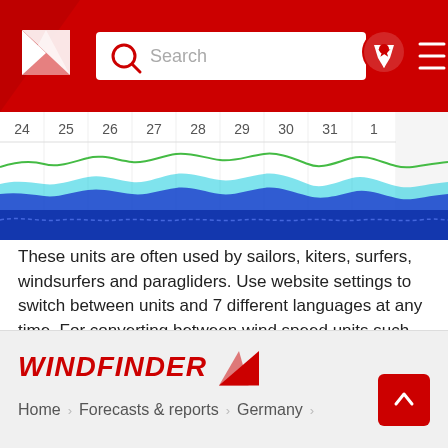[Figure (screenshot): Windfinder website header with red background, logo, search bar, and navigation icons]
[Figure (line-chart): Wind forecast chart strip showing dates 24-2 with colored wave lines (blue, green, cyan) representing wind data]
These units are often used by sailors, kiters, surfers, windsurfers and paragliders. Use website settings to switch between units and 7 different languages at any time. For converting between wind speed units such as knots, km/h (kilometers per hour), m/s (meters per second), and mph (miles per hour) use our wind speed calculator.
Help  If you need more information about our wind forecast for Alveslohe, have a look at our help section.
WINDFINDER  Home > Forecasts & reports > Germany